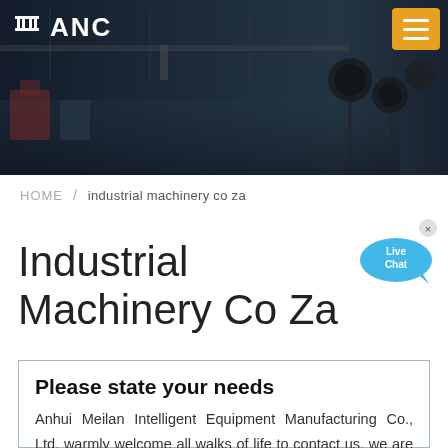[Figure (photo): Header banner with factory/industrial background and microphones on the right side. Dark overlay with ANC logo and hamburger menu in orange button.]
ANC
HOME / industrial machinery co za
Industrial Machinery Co Za
Please state your needs
Anhui Meilan Intelligent Equipment Manufacturing Co., Ltd. warmly welcome all walks of life to contact us, we are waiting for your inquiry all day!